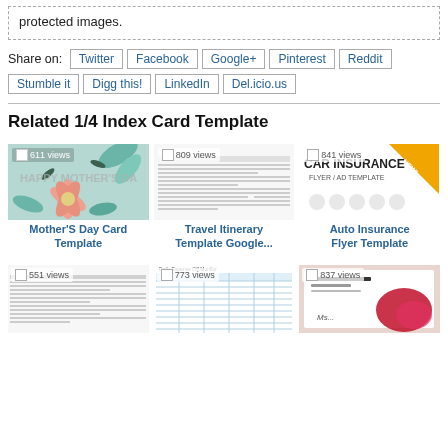protected images.
Share on: Twitter | Facebook | Google+ | Pinterest | Reddit | Stumble it | Digg this! | LinkedIn | Del.icio.us
Related 1/4 Index Card Template
[Figure (screenshot): Mother'S Day Card Template thumbnail, 611 views]
[Figure (screenshot): Travel Itinerary Template Google... thumbnail, 809 views]
[Figure (screenshot): Auto Insurance Flyer Template thumbnail, 841 views]
Mother'S Day Card Template
Travel Itinerary Template Google...
Auto Insurance Flyer Template
[Figure (screenshot): Template thumbnail, 551 views]
[Figure (screenshot): Template thumbnail, 773 views]
[Figure (screenshot): Template thumbnail, 837 views]